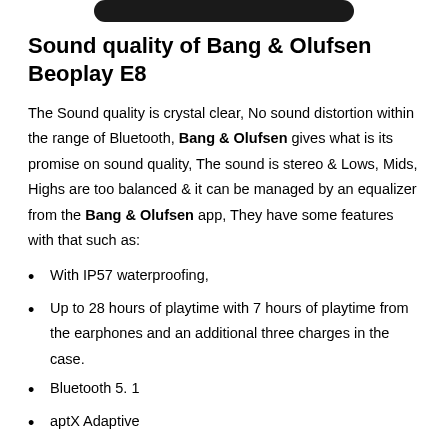Sound quality of Bang & Olufsen Beoplay E8
The Sound quality is crystal clear, No sound distortion within the range of Bluetooth, Bang & Olufsen gives what is its promise on sound quality, The sound is stereo & Lows, Mids, Highs are too balanced & it can be managed by an equalizer from the Bang & Olufsen app, They have some features with that such as:
With IP57 waterproofing,
Up to 28 hours of playtime with 7 hours of playtime from the earphones and an additional three charges in the case.
Bluetooth 5. 1
aptX Adaptive